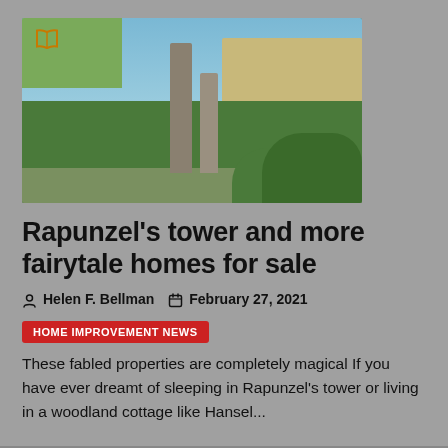[Figure (photo): Aerial drone photograph of a tall stone tower and surrounding estate grounds with green fields, trees, and countryside in the background under a blue sky.]
Rapunzel's tower and more fairytale homes for sale
Helen F. Bellman   February 27, 2021
HOME IMPROVEMENT NEWS
These fabled properties are completely magical If you have ever dreamt of sleeping in Rapunzel's tower or living in a woodland cottage like Hansel...